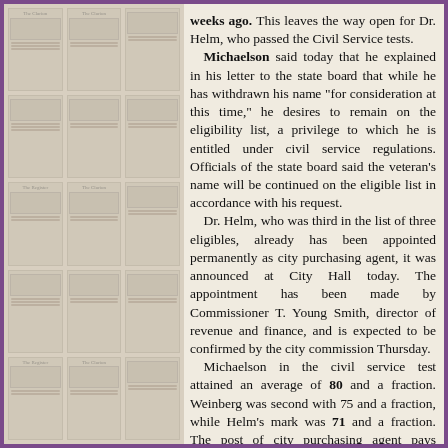[Figure (illustration): Left panel showing a collage of newspaper front pages with mastheads including 'The Clarion' and 'The Register', arranged in a grid pattern with decorative borders, rendered in muted sepia tones.]
weeks ago. This leaves the way open for Dr. Helm, who passed the Civil Service tests. Michaelson said today that he explained in his letter to the state board that while he has withdrawn his name "for consideration at this time," he desires to remain on the eligibility list, a privilege to which he is entitled under civil service regulations. Officials of the state board said the veteran's name will be continued on the eligible list in accordance with his request. Dr. Helm, who was third in the list of three eligibles, already has been appointed permanently as city purchasing agent, it was announced at City Hall today. The appointment has been made by Commissioner T. Yo... Smith, director of revenue and finance, and is expected to be confirmed by the city commission Thursday. Michaelson in the civil service test attained an average of 80 and a fraction. Weinberg was second with ... and a fraction, while Helm's mark was 71 and a fraction. The post of city purchasing agent pays $4,000 a year.